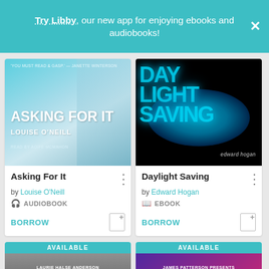Try Libby, our new app for enjoying ebooks and audiobooks!
[Figure (screenshot): Book cover for 'Asking For It' by Louise O'Neill, audiobook, teal background with figure legs]
Asking For It
by Louise O'Neill
AUDIOBOOK
BORROW
[Figure (screenshot): Book cover for 'Daylight Saving' by Edward Hogan, dark/black background with glowing teal text]
Daylight Saving
by Edward Hogan
EBOOK
BORROW
AVAILABLE
LAURIE HALSE ANDERSON
AVAILABLE
JAMES PATTERSON PRESENTS